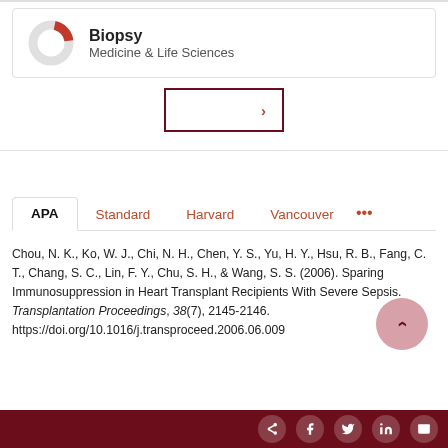[Figure (donut-chart): Donut chart showing a small red segment, Medicine & Life Sciences category]
Biopsy
Medicine & Life Sciences
[Figure (other): Navigation button with right-facing arrow, dark red border]
APA	Standard	Harvard	Vancouver	...
Chou, N. K., Ko, W. J., Chi, N. H., Chen, Y. S., Yu, H. Y., Hsu, R. B., Fang, C. T., Chang, S. C., Lin, F. Y., Chu, S. H., & Wang, S. S. (2006). Sparing Immunosuppression in Heart Transplant Recipients With Severe Sepsis. Transplantation Proceedings, 38(7), 2145-2146. https://doi.org/10.1016/j.transproceed.2006.06.009